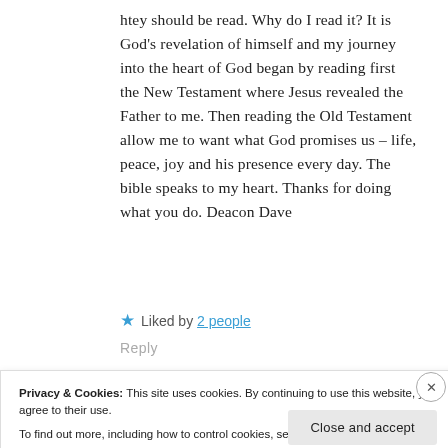htey should be read. Why do I read it? It is God's revelation of himself and my journey into the heart of God began by reading first the New Testament where Jesus revealed the Father to me. Then reading the Old Testament allow me to want what God promises us – life, peace, joy and his presence every day. The bible speaks to my heart. Thanks for doing what you do. Deacon Dave
★ Liked by 2 people
Reply
Privacy & Cookies: This site uses cookies. By continuing to use this website, you agree to their use.
To find out more, including how to control cookies, see here: Cookie Policy
Close and accept